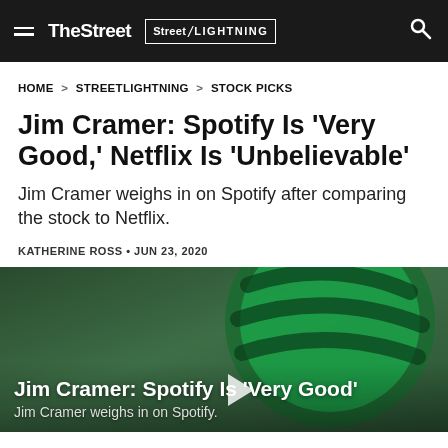TheStreet | Street LIGHTNING
HOME > STREETLIGHTNING > STOCK PICKS
Jim Cramer: Spotify Is 'Very Good,' Netflix Is 'Unbelievable'
Jim Cramer weighs in on Spotify after comparing the stock to Netflix.
KATHERINE ROSS • JUN 23, 2020
[Figure (screenshot): Video thumbnail with Spotify logo on green background showing Jim Cramer: Spotify Is 'Very Good' with subtitle Jim Cramer weighs in on Spotify. and a play button.]